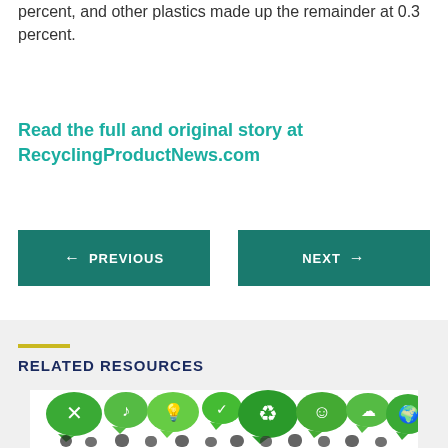percent, and other plastics made up the remainder at 0.3 percent.
Read the full and original story at RecyclingProductNews.com
← PREVIOUS
NEXT →
RELATED RESOURCES
[Figure (illustration): Green speech bubble icons with recycling, energy, and environment symbols above silhouettes of people]